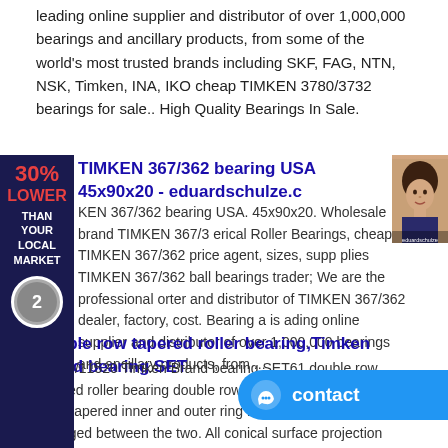leading online supplier and distributor of over 1,000,000 bearings and ancillary products, from some of the world's most trusted brands including SKF, FAG, NTN, NSK, Timken, INA, IKO cheap TIMKEN 3780/3732 bearings for sale.. High Quality Bearings In Sale.
TIMKEN 367/362 bearing USA 45x90x20 - eduardschulze.c
KEN 367/362 bearing USA. 45x90x20. Wholesale brand TIMKEN 367/3 erical Roller Bearings, cheap TIMKEN 367/362 price agent, sizes, supp plies TIMKEN 367/362 ball bearings trader; We are the professional orter and distributor of TIMKEN 367/362 dealer, factory, cost. Bearing a is ading online supplier and distributor of over 1,000,000 bearings and ancillary products, from ...
double row tapered roller bearing,Timken brand bearing SET
11590/11520 Timken Brand bearing SET61 double row tapered roller bearing double row tapered roller bearing have tapered inner and outer ring raceways, tapered rollers arranged between the two. All conical surface projection lines in the bearing axis with a little together.
Compare prices about Timken 555-S/553A bearing in Grena
Compare prices about Timken 555-S/553A bearing in Gre used in motor,industrial machinery,CNC lathes,high-preci machine locomotive industry.E-mail:Theabearing@outlook.com.